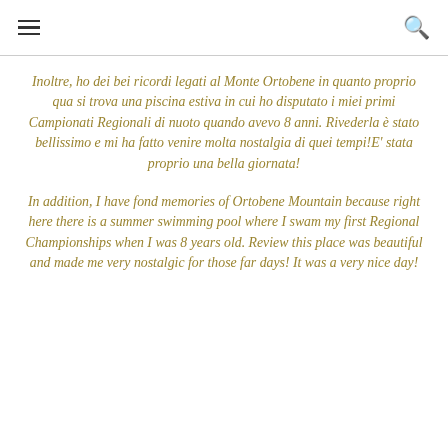[hamburger menu icon] [search icon]
Inoltre, ho dei bei ricordi legati al Monte Ortobene in quanto proprio qua si trova una piscina estiva in cui ho disputato i miei primi Campionati Regionali di nuoto quando avevo 8 anni. Rivederla è stato bellissimo e mi ha fatto venire molta nostalgia di quei tempi!E' stata proprio una bella giornata!
In addition, I have fond memories of Ortobene Mountain because right here there is a summer swimming pool where I swam my first Regional Championships when I was 8 years old. Review this place was beautiful and made me very nostalgic for those far days! It was a very nice day!